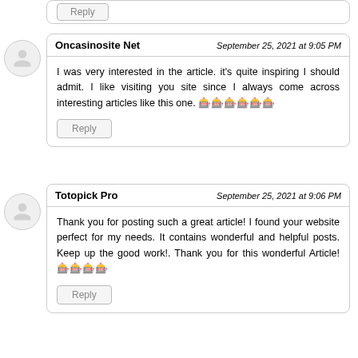Reply (partial, top)
Oncasinosite Net — September 25, 2021 at 9:05 PM
I was very interested in the article. it's quite inspiring I should admit. I like visiting you site since I always come across interesting articles like this one. 🎰🎰🎰🎰🎰🎰
Reply
Totopick Pro — September 25, 2021 at 9:06 PM
Thank you for posting such a great article! I found your website perfect for my needs. It contains wonderful and helpful posts. Keep up the good work!. Thank you for this wonderful Article! 🎰🎰🎰🎰
Reply